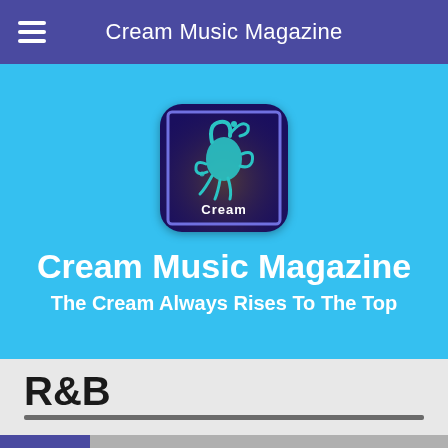Cream Music Magazine
[Figure (logo): Cream Music Magazine app icon with decorative teal octopus-like creature and the word 'Cream' on a dark purple background with rounded corners]
Cream Music Magazine
The Cream Always Rises To The Top
R&B